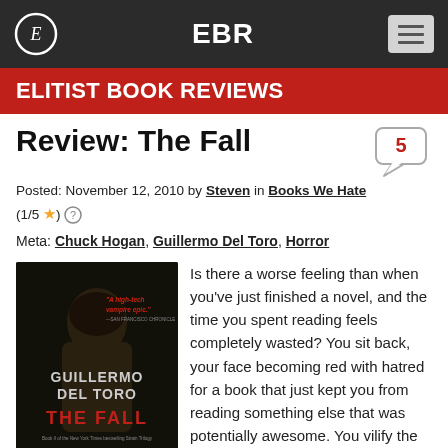EBR
ELITIST BOOK REVIEWS
Review: The Fall
Posted: November 12, 2010 by Steven in Books We Hate
(1/5 ★) ?
Meta: Chuck Hogan, Guillermo Del Toro, Horror
[Figure (photo): Book cover of The Fall by Guillermo Del Toro and Chuck Hogan. Dark cover showing a hooded figure with text 'A high-tech vampire epic.' – San Francisco Chronicle. Title text reads: GUILLERMO DEL TORO, THE FALL, Book II of the New York Times bestselling Strain Trilogy, CHUCK HOGAN]
Is there a worse feeling than when you've just finished a novel, and the time you spent reading feels completely wasted? You sit back, your face becoming red with hatred for a book that just kept you from reading something else that was potentially awesome. You vilify the